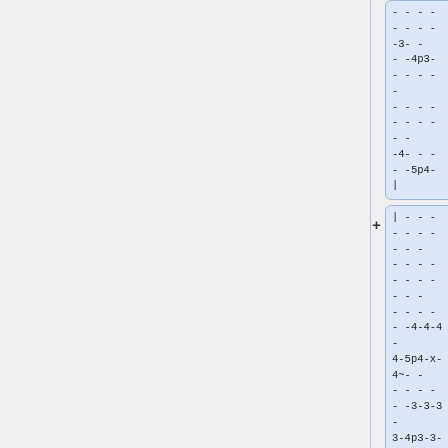[Figure (other): Sequence/alignment box 1 showing dashes and characters: - - - - - - - - - 3 - - - - 4p3 - - - - - - - - - - - - - - - - - - - - 4 - - - - - 5p4 - |]
[Figure (other): Sequence/alignment box 2 with plus sign: | - - - - - - - - - - - - - - - - - - - - - - - - - - 4 - 4 - 4 - 4 - 5p4 - x - 4 ~ - - - - - - - 3 - 3 - 3 - 3 - 4p3 - 3 - - - - - - - - - - - - - - - 4 - 4 - 4 - 4 - 5p4 - |]
[Figure (other): Sequence/alignment box 3 with plus sign: | - 4b ~ - - - - - - - 3 ~ - - - - - - / / - \ \ - 4 - - - 4 - 4 - - - - - - x - - 5 - 4 - 5 - 3 - 3 - - - 3 - 3 - - - - - - - 4 - 3 - 4p3h3 - 3h4 - 4 - - - 4 - 4 - - - - |]